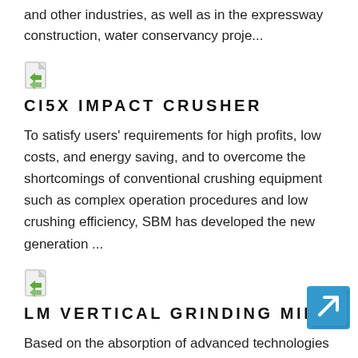and other industries, as well as in the expressway construction, water conservancy proje...
[Figure (illustration): File/document icon with green and white design]
CI5X IMPACT CRUSHER
To satisfy users' requirements for high profits, low costs, and energy saving, and to overcome the shortcomings of conventional crushing equipment such as complex operation procedures and low crushing efficiency, SBM has developed the new generation ...
[Figure (illustration): File/document icon with green and white design]
LM VERTICAL GRINDING MILL
[Figure (illustration): Blue arrow button pointing upper-right, navigation element]
Based on the absorption of advanced technologies of famous international corporations and 30 years'